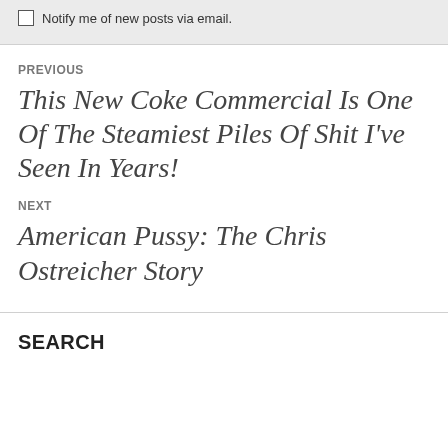Notify me of new posts via email.
PREVIOUS
This New Coke Commercial Is One Of The Steamiest Piles Of Shit I've Seen In Years!
NEXT
American Pussy: The Chris Ostreicher Story
SEARCH